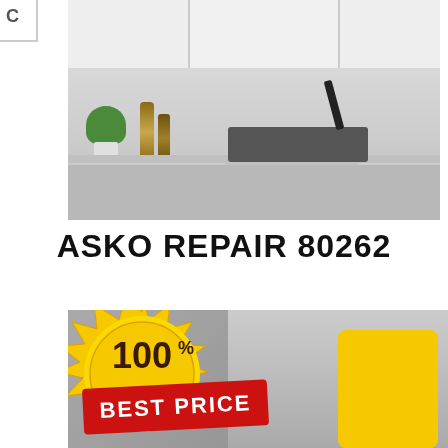[Figure (photo): Modern kitchen countertop with white cabinets, black granite sink with black faucet, wooden pepper mills, green plant in white pot, grey backsplash]
ASKO REPAIR 80262
[Figure (photo): Gold seal badge with '100% BEST PRICE' text and red ribbon, with a construction worker wearing yellow safety vest and hard hat in the background]